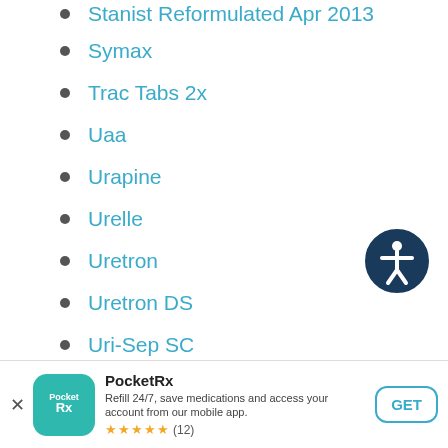Stanist Reformulated Apr 2013
Symax
Trac Tabs 2x
Uaa
Urapine
Urelle
Uretron
Uretron DS
Uri-Sep SC
Uribel
PocketRx — Refill 24/7, save medications and access your account from our mobile app. ★★★★★ (12) GET